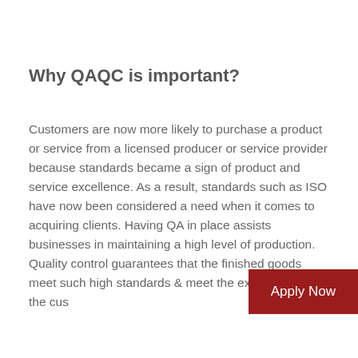Why QAQC is important?
Customers are now more likely to purchase a product or service from a licensed producer or service provider because standards became a sign of product and service excellence. As a result, standards such as ISO have now been considered a need when it comes to acquiring clients. Having QA in place assists businesses in maintaining a high level of production. Quality control guarantees that the finished goods meet such high standards & meet the expectations of the cus
Apply Now